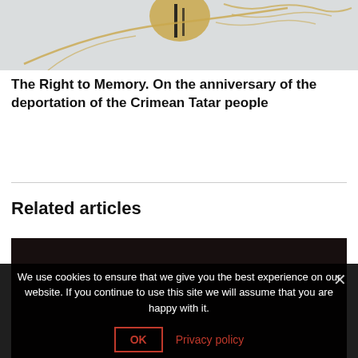[Figure (illustration): Partial view of an artwork or illustration with golden/tan tones, appears to show a bird or decorative figure against a light background]
The Right to Memory. On the anniversary of the deportation of the Crimean Tatar people
Related articles
[Figure (photo): Dark/black toned photo, partial view of a related article thumbnail]
We use cookies to ensure that we give you the best experience on our website. If you continue to use this site we will assume that you are happy with it.
OK  Privacy policy